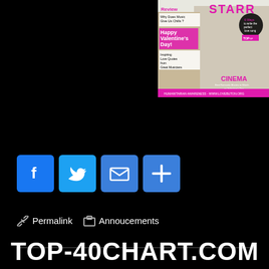[Figure (photo): Magazine cover featuring 'STARR' with articles like 'Review', 'Why Does Music Give Us Chills?', 'Happy Valentine's Day!', 'Inspiring Love Quotes from Great Musicians', 'CINEMA', '6 Ways to write the perfect love song', 'HUMANITARIAN AWARENESS - WWW.LOVEBUTON.ORG']
[Figure (infographic): Social media share buttons: Facebook (blue), Twitter (blue), Email (blue envelope), Share/Plus (blue plus sign)]
🔗 Permalink   📁 Annoucements
TOP-40CHART.COM